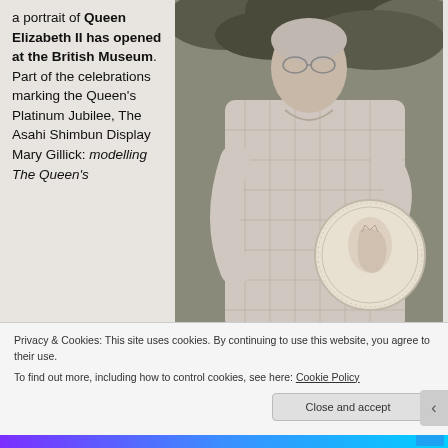a portrait of Queen Elizabeth II has opened at the British Museum. Part of the celebrations marking the Queen's Platinum Jubilee, The Asahi Shimbun Display Mary Gillick: modelling The Queen's
[Figure (photo): Black and white photograph of an elderly woman (Mary Gillick) holding a large circular plaster medal/coin model showing a portrait profile in relief, standing outdoors with foliage behind her.]
Plaster model for the obverse of a
Privacy & Cookies: This site uses cookies. By continuing to use this website, you agree to their use.
To find out more, including how to control cookies, see here: Cookie Policy